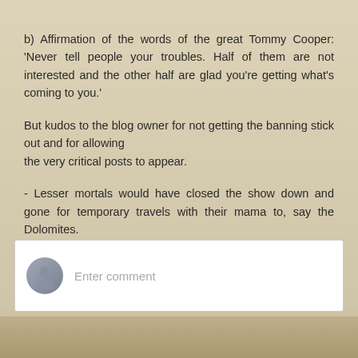b) Affirmation of the words of the great Tommy Cooper: 'Never tell people your troubles. Half of them are not interested and the other half are glad you're getting what's coming to you.'
But kudos to the blog owner for not getting the banning stick out and for allowing the very critical posts to appear.
- Lesser mortals would have closed the show down and gone for temporary travels with their mama to, say the Dolomites.
Reply